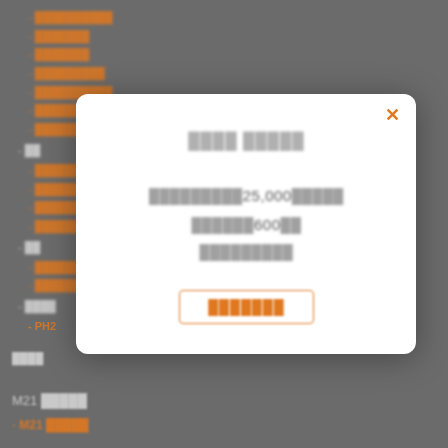██████████
███████
███████
█████████
██████████
████████
█████████
██
██████████
██████████
██████████
██████████
██
████████
██████████
████
PH2
[Figure (screenshot): Modal dialog with close button (×), blurred title text, body text showing numbers 25,000 and 600, and an orange action button]
████
M21 █████
M21 █████